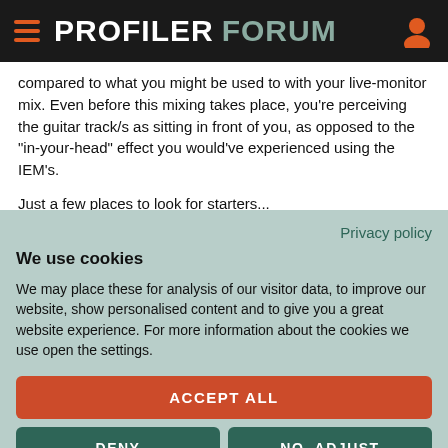PROFILER FORUM
compared to what you might be used to with your live-monitor mix. Even before this mixing takes place, you're perceiving the guitar track/s as sitting in front of you, as opposed to the "in-your-head" effect you would've experienced using the IEM's.

Just a few places to look for starters...
Privacy policy
We use cookies
We may place these for analysis of our visitor data, to improve our website, show personalised content and to give you a great website experience. For more information about the cookies we use open the settings.
ACCEPT ALL
DENY
NO, ADJUST